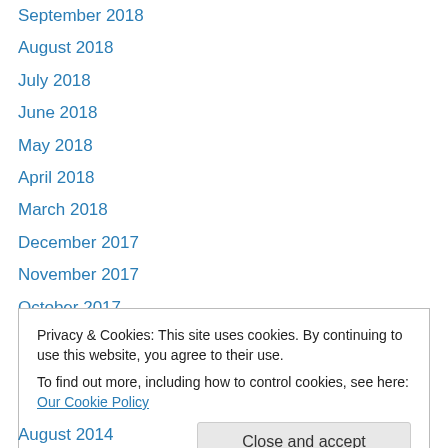September 2018
August 2018
July 2018
June 2018
May 2018
April 2018
March 2018
December 2017
November 2017
October 2017
June 2017
May 2017
April 2017
Privacy & Cookies: This site uses cookies. By continuing to use this website, you agree to their use. To find out more, including how to control cookies, see here: Our Cookie Policy
August 2014